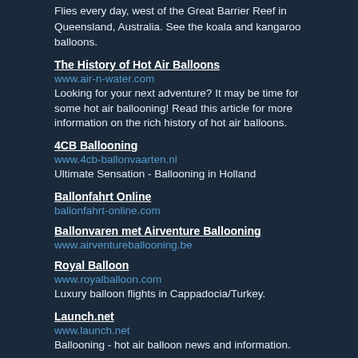Flies every day, west of the Great Barrier Reef in Queensland, Australia. See the koala and kangaroo balloons.
The History of Hot Air Balloons
www.air-n-water.com
Looking for your next adventure? It may be time for some hot air ballooning! Read this article for more information on the rich history of hot air balloons.
4CB Ballooning
www.4cb-ballonvaarten.nl
Ultimate Sensation - Ballooning in Holland
Ballonfahrt Online
ballonfahrt-online.com
Ballonvaren met Airventure Ballooning
www.airventureballooning.be
Royal Balloon
www.royalballoon.com
Luxury balloon flights in Cappadocia/Turkey.
Launch.net
www.launch.net
Ballooning - hot air balloon news and information.
Colorado Balloon Classic
www.balloonclassic.com